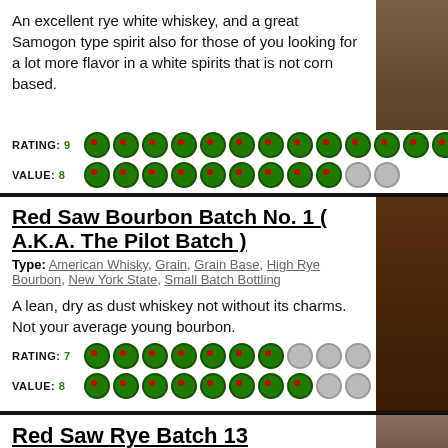An excellent rye white whiskey, and a great Samogon type spirit also for those of you looking for a lot more flavor in a white spirits that is not corn based.
RATING: 9 (14 dots, 9 filled, 1 empty)
VALUE: 8 (10 dots, 8 filled, 2 empty)
Red Saw Bourbon Batch No. 1 ( A.K.A. The Pilot Batch )
Type: American Whisky, Grain, Grain Base, High Rye Bourbon, New York State, Small Batch Bottling
A lean, dry as dust whiskey not without its charms. Not your average young bourbon.
RATING: 7
VALUE: 8
Red Saw Rye Batch 13
Type: Rye